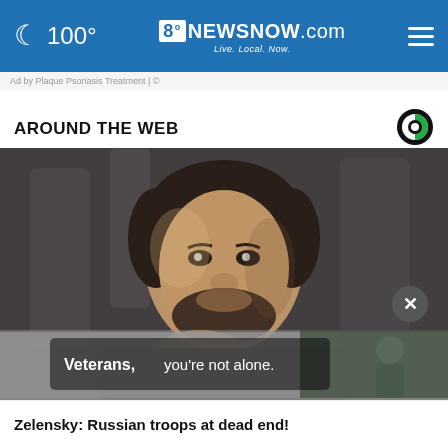100° | 8NEWSNOW.com Live. Local. Now.
Ad by Plaque Psoriasis Treatment | ©
AROUND THE WEB
[Figure (photo): Close-up photo of a man (Zelensky) with a serious expression, hand near chin, dark background.]
[Figure (photo): Veterans advertisement overlay: 'Veterans, you're not alone.' with a soldier in background.]
Zelensky: Russian troops at dead end!